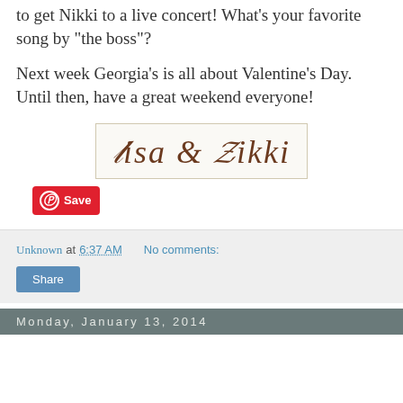to get Nikki to a live concert! What's your favorite song by "the boss"?
Next week Georgia's is all about Valentine's Day. Until then, have a great weekend everyone!
[Figure (illustration): Cursive signature graphic reading 'Lisa & Nikki' in dark brown script on a light background with border]
[Figure (other): Pinterest Save button - red rounded button with Pinterest circle logo and 'Save' text]
Unknown at 6:37 AM   No comments:
Share
Monday, January 13, 2014